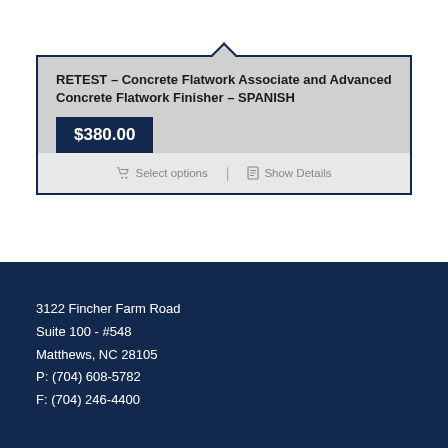RETEST – Concrete Flatwork Associate and Advanced Concrete Flatwork Finisher – SPANISH
$380.00
Select options | Show Details
3122 Fincher Farm Road
Suite 100 - #548
Matthews, NC 28105
P: (704) 608-5782
F: (704) 246-4400